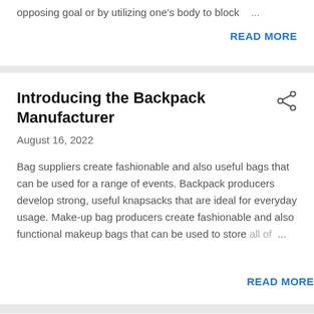opposing goal or by utilizing one's body to block ...
READ MORE
Introducing the Backpack Manufacturer
August 16, 2022
Bag suppliers create fashionable and also useful bags that can be used for a range of events. Backpack producers develop strong, useful knapsacks that are ideal for everyday usage. Make-up bag producers create fashionable and also functional makeup bags that can be used to store all of ...
READ MORE